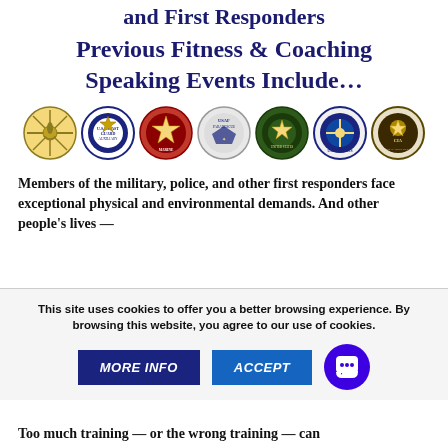and First Responders
Previous Fitness & Coaching Speaking Events Include…
[Figure (logo): Seven military and government agency logos in a row: Special Forces/Medical Corps emblem, US Coast Guard Auxiliary, Marine Corps Reserve emblem, USAF Pararescue, another military seal, US Navy seal, and CIA seal]
Members of the military, police, and other first responders face exceptional physical and environmental demands. And other people's lives —
This site uses cookies to offer you a better browsing experience. By browsing this website, you agree to our use of cookies.
Too much training — or the wrong training — can